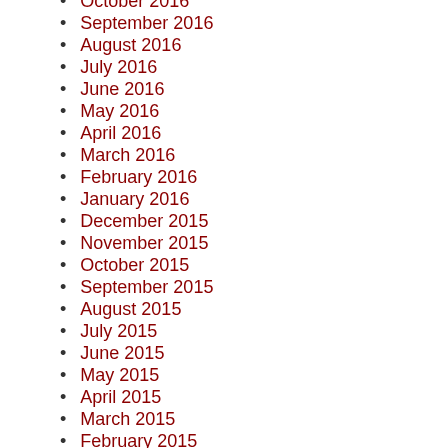October 2016
September 2016
August 2016
July 2016
June 2016
May 2016
April 2016
March 2016
February 2016
January 2016
December 2015
November 2015
October 2015
September 2015
August 2015
July 2015
June 2015
May 2015
April 2015
March 2015
February 2015
January 2015
December 2014